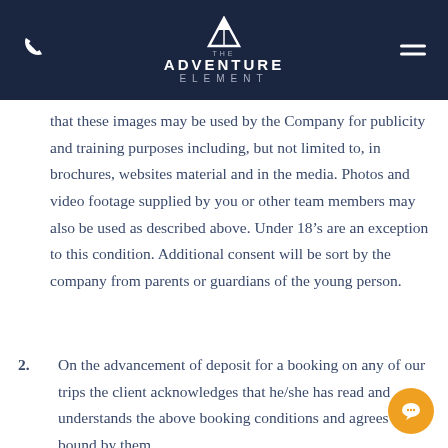The Adventure Element
that these images may be used by the Company for publicity and training purposes including, but not limited to, in brochures, websites material and in the media. Photos and video footage supplied by you or other team members may also be used as described above. Under 18’s are an exception to this condition. Additional consent will be sort by the company from parents or guardians of the young person.
2. On the advancement of deposit for a booking on any of our trips the client acknowledges that he/she has read and understands the above booking conditions and agrees to be bound by them.